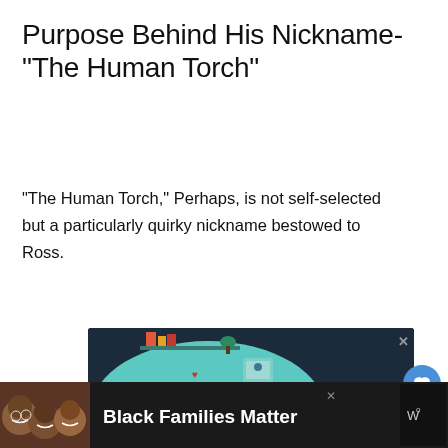Purpose Behind His Nickname- “The Human Torch”
“The Human Torch,” Perhaps, is not self-selected but a particularly quirky nickname bestowed to Ross.
[Figure (illustration): Advertising illustration showing a person working at a laptop in a stylized room setting with plants, books, and decorative items on a dark background. Text 'BE' visible at bottom right.]
[Figure (illustration): Bottom banner advertisement showing people smiling with text 'Black Families Matter' on dark background with logo.]